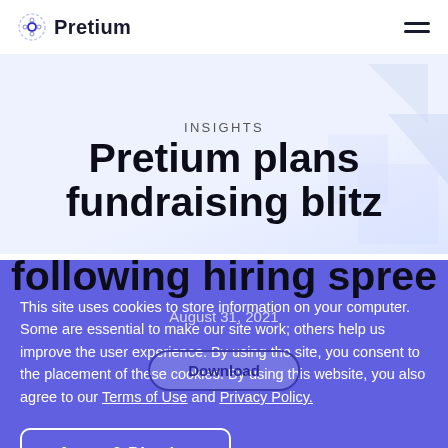Pretium
INSIGHTS
Pretium plans fundraising blitz following hiring spree
August 31, 2021
This site uses cookies to store information on your computer. Some are essential to make our site work; others help us improve the user experience. By using the site, you consent to the placement of these cookies. By using this website, you also agree to our Terms of Use and Privacy Policy.
Agree & Dismiss